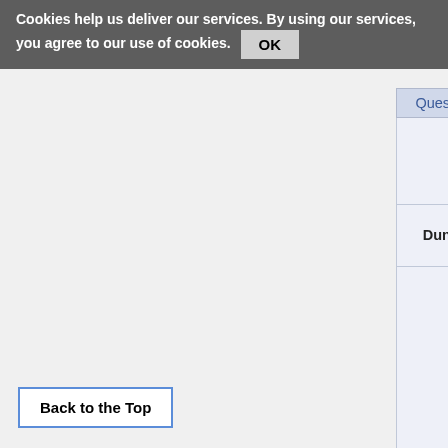Cookies help us deliver our services. By using our services, you agree to our use of cookies. OK
| Quest Giver | Varracht |
| --- | --- |
| Dungeon | The Lawless District |
|  | Sandstorm Varracht: "Your'e looking for someone who brings about disasters. I don't know about disasters, but something similar happened to us ... |
Back to the Top